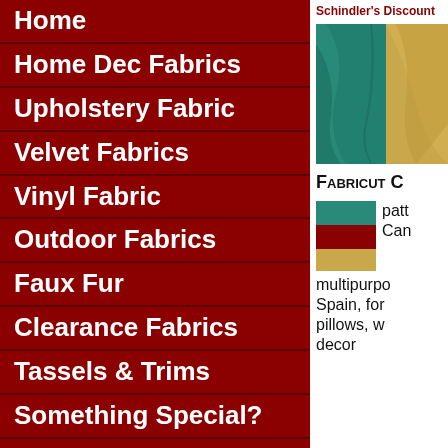Home
Home Dec Fabrics
Upholstery Fabric
Velvet Fabrics
Vinyl Fabric
Outdoor Fabrics
Faux Fur
Clearance Fabrics
Tassels & Trims
Something Special?
Schindler's Discount
[Figure (photo): Close-up of teal and gold/yellow velvet fabric draped together]
Fabricut C
[Figure (photo): Small swatch showing teal, dark red, and gold/yellow fabric samples]
patt Can multipurpo Spain, for pillows, w decor